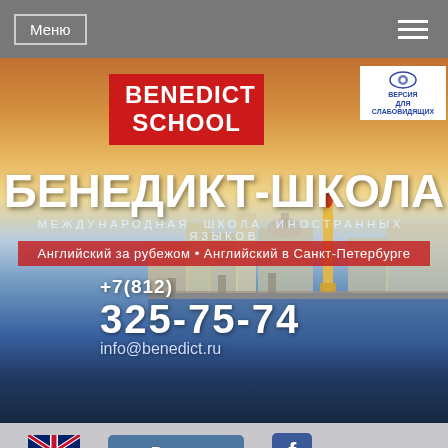Меню
[Figure (screenshot): Benedict School website header banner with St. Petersburg skyline background, showing BENEDICT SCHOOL logo in red, Cyrillic school name БЕНЕДИКТ-ШКОЛА, subtitle МЕЖДУНАРОДНАЯ ШКОЛА ИНОСТРАННЫХ ЯЗЫКОВ, red tagline strip, phone number +7(812) 325-75-74, and email info@benedict.ru]
[Figure (logo): BENEDICT SCHOOL red logo]
[Figure (logo): Vision for visually impaired icon top right corner]
БЕНЕДИКТ-ШКОЛА
МЕЖДУНАРОДНАЯ ШКОЛА ИНОСТРАННЫХ ЯЗЫКОВ
Английский за рубежом • Английский в Санкт-Петербурге
+7(812)
325-75-74
info@benedict.ru
На главную » Преподаватели »
JAMES